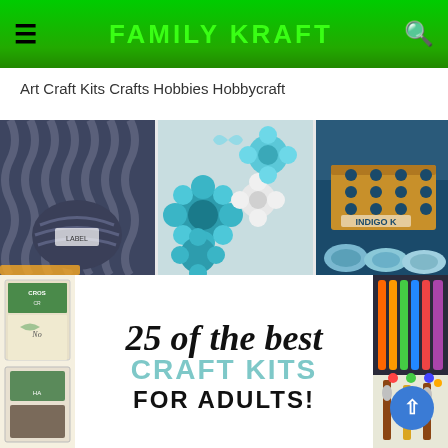FAMILY KRAFT
Art Craft Kits Crafts Hobbies Hobbycraft
[Figure (photo): Collage of craft kit images: dark grey knitted yarn and cable-knit fabric (top left), teal and white paper flowers on grey background (top center), Indigo craft kit box with blue yarn skeins (top right), cross-stitch and craft kits (bottom left), colorful thread/yarn (bottom right). Center overlay text reads '25 of the best CRAFT KITS FOR ADULTS!']